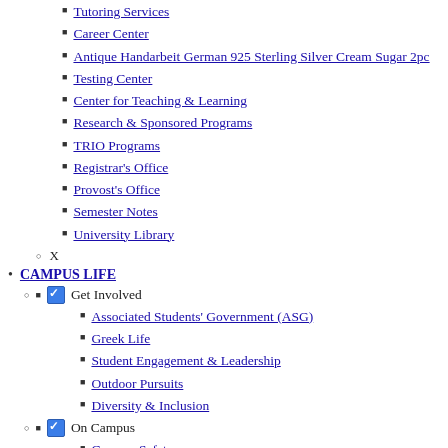Tutoring Services
Career Center
Antique Handarbeit German 925 Sterling Silver Cream Sugar 2pc
Testing Center
Center for Teaching & Learning
Research & Sponsored Programs
TRIO Programs
Registrar's Office
Provost's Office
Semester Notes
University Library
X
CAMPUS LIFE
Get Involved (checked)
Associated Students' Government (ASG)
Greek Life
Student Engagement & Leadership
Outdoor Pursuits
Diversity & Inclusion
On Campus (checked)
Campus Safety
Parking
Career Center
Center for International Programs &